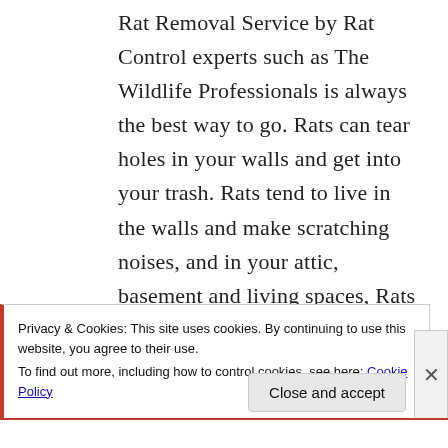Rat Removal Service by Rat Control experts such as The Wildlife Professionals is always the best way to go. Rats can tear holes in your walls and get into your trash. Rats tend to live in the walls and make scratching noises, and in your attic, basement and living spaces, Rats can live in out building and even in crawlspaces
Privacy & Cookies: This site uses cookies. By continuing to use this website, you agree to their use.
To find out more, including how to control cookies, see here: Cookie Policy
Close and accept